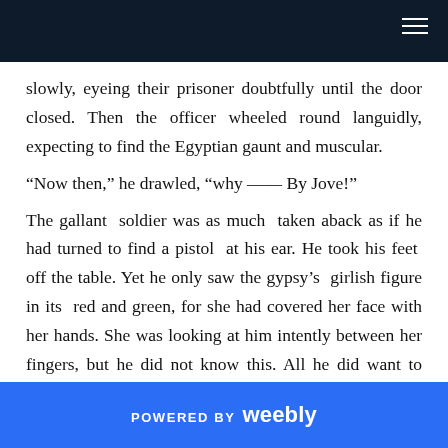slowly, eyeing their prisoner doubtfully until the door closed. Then the officer wheeled round languidly, expecting to find the Egyptian gaunt and muscular.
“Now then,” he drawled, “why —— By Jove!”
The gallant soldier was as much taken aback as if he had turned to find a pistol at his ear. He took his feet off the table. Yet he only saw the gypsy’s girlish figure in its red and green, for she had covered her face with her hands. She was looking at him intently between her fingers, but he did not know this. All he did want to know just then was what was behind the hands.
Before he spoke again she had perhaps made up her mind
POWERED BY weebly